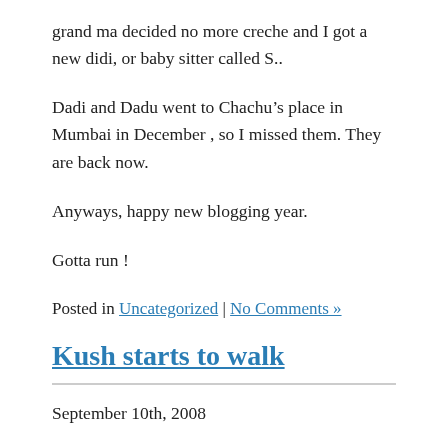grand ma decided no more creche and I got a new didi, or baby sitter called S..
Dadi and Dadu went to Chachu’s place in Mumbai in December , so I missed them. They are back now.
Anyways, happy new blogging year.
Gotta run !
Posted in Uncategorized | No Comments »
Kush starts to walk
September 10th, 2008